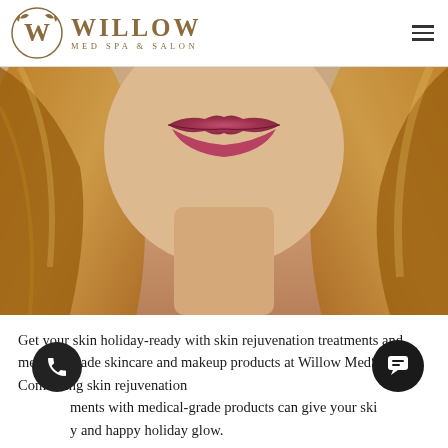[Figure (logo): Willow Med Spa & Salon logo with circular W emblem and leaf decorations in gold/brown]
[Figure (photo): Close-up photo of a woman's lower face showing lips and blonde hair, skin rejuvenation promotional image]
Get your skin holiday-ready with skin rejuvenation treatments and medical-grade skincare and makeup products at Willow MedSpa. Combining skin rejuvenation treatments with medical-grade products can give your skin a healthy and happy holiday glow.